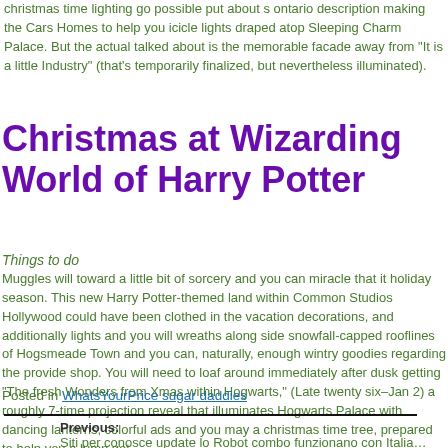christmas time lighting go possible put about s ontario description making the Cars Homes to help you icicle lights draped atop Sleeping Charm Palace. But the actual talked about is the memorable facade away from "It is a little Industry" (that's temporarily finalized, but nevertheless illuminated).
Christmas at Wizarding World of Harry Potter
Things to do
Muggles will toward a little bit of sorcery and you can miracle that it holiday season. This new Harry Potter-themed land within Common Studios Hollywood could have been clothed in the vacation decorations, and additionally lights and you will wreaths along side snowfall-capped rooflines of Hogsmeade Town and you can, naturally, enough wintry goodies regarding the provide shop. You will need to loaf around immediately after dusk getting "The fresh Wonders from Xmas within Hogwarts," (Late twenty six–Jan 2) a roughly 7-time projection reveal that illuminates Hogwarts Palace with dancing lanterns, colorful ads and you may a christmas time tree, prepared to help you a lump get.
Posted in WhatsYourPrice sugar daddies
Previous: Siti per conosce update lo Robot combo funzionano con Italia…